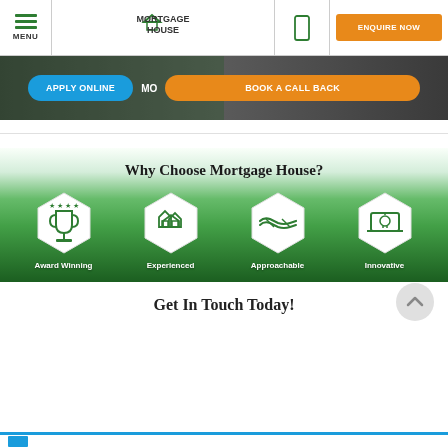[Figure (screenshot): Mortgage House website navigation bar with hamburger menu, logo, phone icon, and orange ENQUIRE NOW button]
[Figure (screenshot): Hero banner area with blue APPLY ONLINE button and orange BOOK A CALL BACK button over a dark background image]
Why Choose Mortgage House?
[Figure (infographic): Four hexagonal icons on green triangle background: Award Winning (trophy with stars), Experienced (house icons), Approachable (handshake), Innovative (laptop with lightbulb)]
Get In Touch Today!